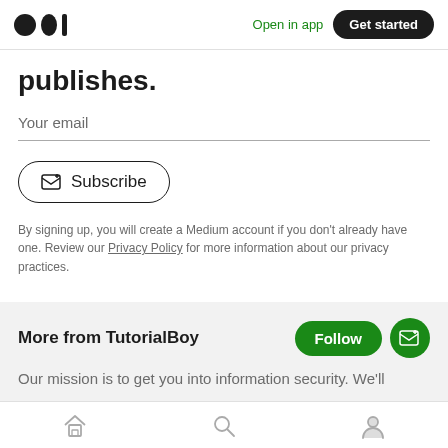Medium logo | Open in app | Get started
publishes.
Your email
Subscribe
By signing up, you will create a Medium account if you don't already have one. Review our Privacy Policy for more information about our privacy practices.
More from TutorialBoy
Our mission is to get you into information security. We'll
Home | Search | Profile